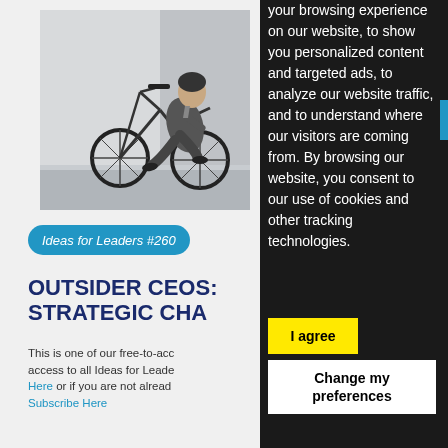[Figure (photo): Businessman in a suit riding a bicycle, motion blur background]
Ideas for Leaders #260
OUTSIDER CEOS: STRATEGIC CHA...
This is one of our free-to-acc... access to all Ideas for Leade... Here or if you are not already... Subscribe Here
your browsing experience on our website, to show you personalized content and targeted ads, to analyze our website traffic, and to understand where our visitors are coming from. By browsing our website, you consent to our use of cookies and other tracking technologies.
I agree
Change my preferences